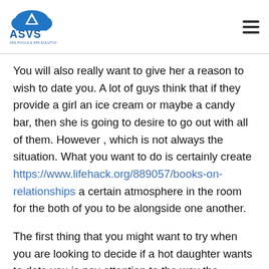ASVS
You will also really want to give her a reason to wish to date you. A lot of guys think that if they provide a girl an ice cream or maybe a candy bar, then she is going to desire to go out with all of them. However , which is not always the situation. What you want to do is certainly create https://www.lifehack.org/889057/books-on-relationships a certain atmosphere in the room for the both of you to be alongside one another.
The first thing that you might want to try when you are looking to decide if a hot daughter wants to date you is pay attention to the way the woman dresses. A lot of Cookware girls prefer to wear